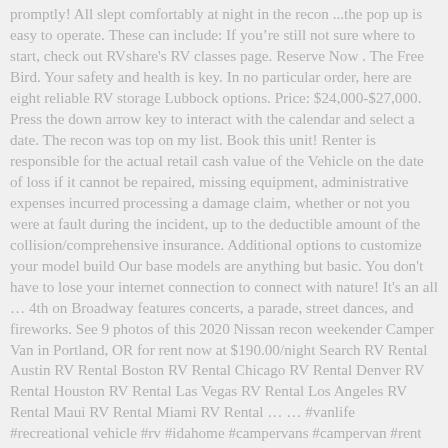promptly! All slept comfortably at night in the recon ...the pop up is easy to operate. These can include: If you're still not sure where to start, check out RVshare's RV classes page. Reserve Now . The Free Bird. Your safety and health is key. In no particular order, here are eight reliable RV storage Lubbock options. Price: $24,000-$27,000. Press the down arrow key to interact with the calendar and select a date. The recon was top on my list. Book this unit! Renter is responsible for the actual retail cash value of the Vehicle on the date of loss if it cannot be repaired, missing equipment, administrative expenses incurred processing a damage claim, whether or not you were at fault during the incident, up to the deductible amount of the collision/comprehensive insurance. Additional options to customize your model build Our base models are anything but basic. You don't have to lose your internet connection to connect with nature! It's an all в… 4th on Broadway features concerts, a parade, street dances, and fireworks. See 9 photos of this 2020 Nissan recon weekender Camper Van in Portland, OR for rent now at $190.00/night Search RV Rental Austin RV Rental Boston RV Rental Chicago RV Rental Denver RV Rental Houston RV Rental Las Vegas RV Rental Los Angeles RV Rental Maui RV Rental Miami RV Rental в… … #vanlife #recreational vehicle #rv #idahome #campervans #campervan #rent #rental в… View